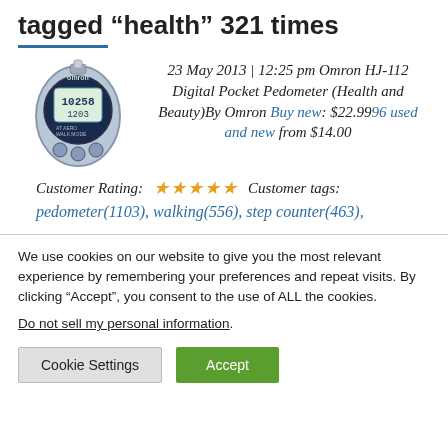tagged “health” 321 times
[Figure (photo): Omron digital pocket pedometer device]
23 May 2013 | 12:25 pm Omron HJ-112 Digital Pocket Pedometer (Health and Beauty)By Omron Buy new: $22.9996 used and new from $14.00
Customer Rating: ★★★★★ Customer tags:
pedometer(1103), walking(556), step counter(463),
We use cookies on our website to give you the most relevant experience by remembering your preferences and repeat visits. By clicking “Accept”, you consent to the use of ALL the cookies.
Do not sell my personal information.